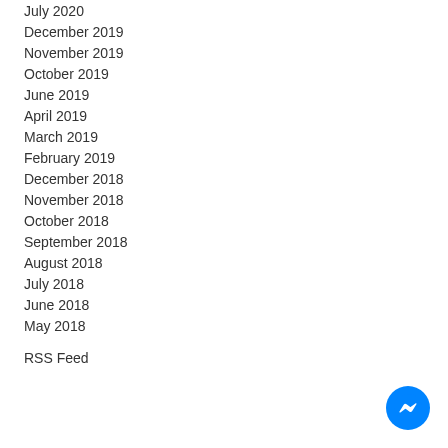July 2020
December 2019
November 2019
October 2019
June 2019
April 2019
March 2019
February 2019
December 2018
November 2018
October 2018
September 2018
August 2018
July 2018
June 2018
May 2018
RSS Feed
[Figure (illustration): Facebook Messenger chat button icon, blue circle with white lightning bolt/chat symbol]